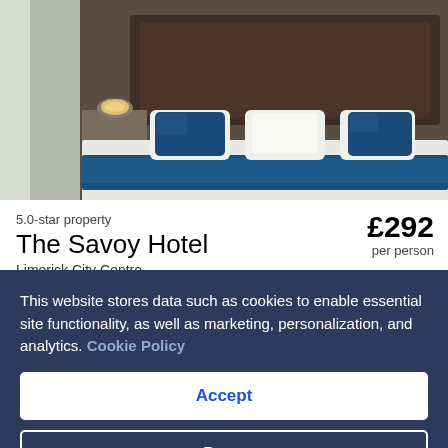[Figure (photo): Hotel bedroom with white bedding, teal/blue accent pillows and blanket, bedside lamp with warm glow, curtained window on left]
5.0-star property
The Savoy Hotel
Limerick City Centre
4.5/5 Wonderful! (723 reviews)
£292 per person
Stay at this 5-star luxury hotel in Limerick. Enjoy free WiFi, breakfast and 24-hour room service. Our guests praise the
This website stores data such as cookies to enable essential site functionality, as well as marketing, personalization, and analytics. Cookie Policy
Accept
Deny